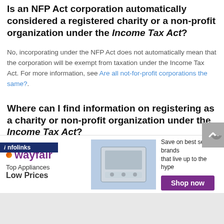Is an NFP Act corporation automatically considered a registered charity or a non-profit organization under the Income Tax Act?
No, incorporating under the NFP Act does not automatically mean that the corporation will be exempt from taxation under the Income Tax Act. For more information, see Are all not-for-profit corporations the same?.
Where can I find information on registering as a charity or non-profit organization under the Income Tax Act?
For information on registering a charity, see Charities and giving. For information on registering a non-profit organization, see Non-profit organizations.
[Figure (other): Wayfair advertisement banner: Top Appliances Low Prices, with appliance image and Shop now button]